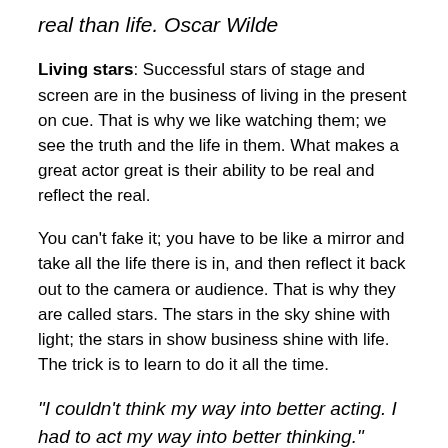real than life. Oscar Wilde
Living stars: Successful stars of stage and screen are in the business of living in the present on cue. That is why we like watching them; we see the truth and the life in them. What makes a great actor great is their ability to be real and reflect the real.
You can't fake it; you have to be like a mirror and take all the life there is in, and then reflect it back out to the camera or audience. That is why they are called stars. The stars in the sky shine with light; the stars in show business shine with life. The trick is to learn to do it all the time.
"I couldn't think my way into better acting. I had to act my way into better thinking."